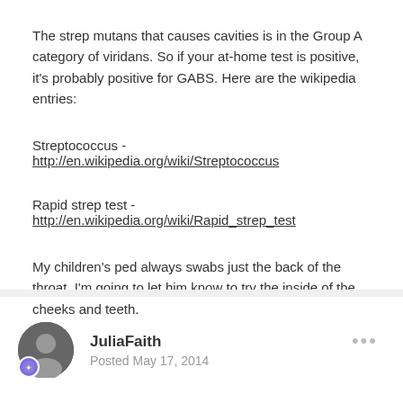The strep mutans that causes cavities is in the Group A category of viridans. So if your at-home test is positive, it's probably positive for GABS. Here are the wikipedia entries:
Streptococcus - http://en.wikipedia.org/wiki/Streptococcus
Rapid strep test - http://en.wikipedia.org/wiki/Rapid_strep_test
My children's ped always swabs just the back of the throat, I'm going to let him know to try the inside of the cheeks and teeth.
JuliaFaith
Posted May 17, 2014